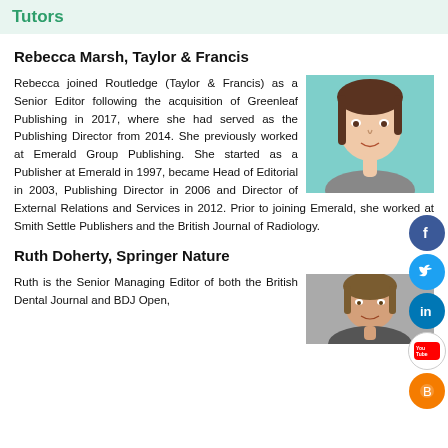Tutors
Rebecca Marsh, Taylor & Francis
Rebecca joined Routledge (Taylor & Francis) as a Senior Editor following the acquisition of Greenleaf Publishing in 2017, where she had served as the Publishing Director from 2014. She previously worked at Emerald Group Publishing. She started as a Publisher at Emerald in 1997, became Head of Editorial in 2003, Publishing Director in 2006 and Director of External Relations and Services in 2012. Prior to joining Emerald, she worked at Smith Settle Publishers and the British Journal of Radiology.
[Figure (photo): Headshot of Rebecca Marsh against a teal background]
Ruth Doherty, Springer Nature
Ruth is the Senior Managing Editor of both the British Dental Journal and BDJ Open,
[Figure (photo): Headshot of Ruth Doherty]